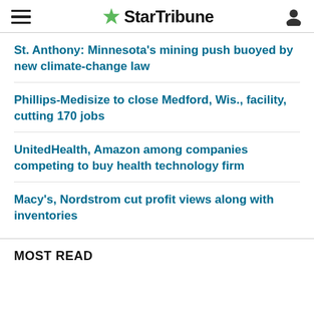StarTribune
St. Anthony: Minnesota's mining push buoyed by new climate-change law
Phillips-Medisize to close Medford, Wis., facility, cutting 170 jobs
UnitedHealth, Amazon among companies competing to buy health technology firm
Macy's, Nordstrom cut profit views along with inventories
MOST READ